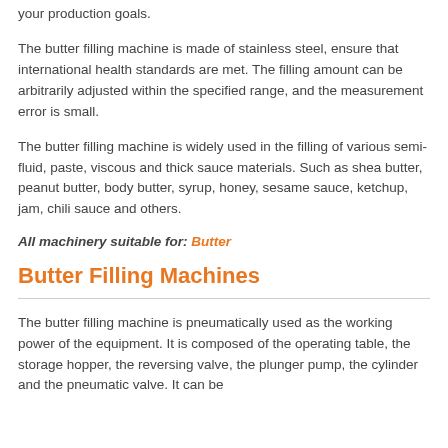your production goals.
The butter filling machine is made of stainless steel, ensure that international health standards are met. The filling amount can be arbitrarily adjusted within the specified range, and the measurement error is small.
The butter filling machine is widely used in the filling of various semi-fluid, paste, viscous and thick sauce materials. Such as shea butter, peanut butter, body butter, syrup, honey, sesame sauce, ketchup, jam, chili sauce and others.
All machinery suitable for: Butter
Butter Filling Machines
The butter filling machine is pneumatically used as the working power of the equipment. It is composed of the operating table, the storage hopper, the reversing valve, the plunger pump, the cylinder and the pneumatic valve. It can be